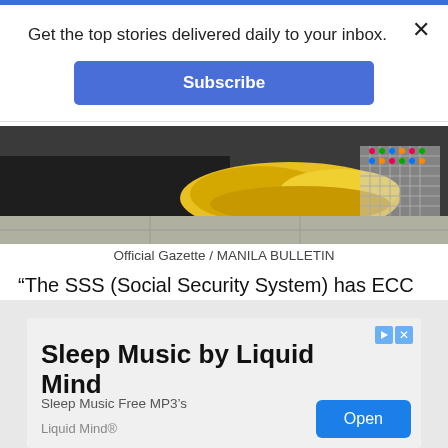Get the top stories delivered daily to your inbox.
Subscribe
[Figure (photo): Person wearing yellow rubber gloves cleaning a tiled surface]
Official Gazette / MANILA BULLETIN
“The SSS (Social Security System) has ECC for kasambahay…so for example if they contracted COVID they have daily income benefit of P480 per day up to 4 days plus cash assistance of P10,000 and medical
[Figure (screenshot): Advertisement: Sleep Music by Liquid Mind. Sleep Music Free MP3's. Liquid Mind®. Open button.]